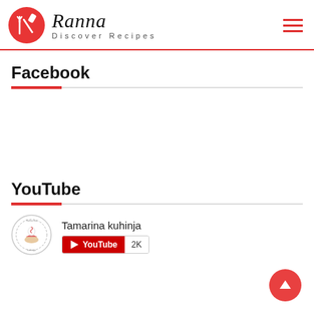Ranna — Discover Recipes
Facebook
YouTube
[Figure (logo): Tamarina kuhinja YouTube channel logo — circular stamp with cupcake illustration]
Tamarina kuhinja — YouTube 2K